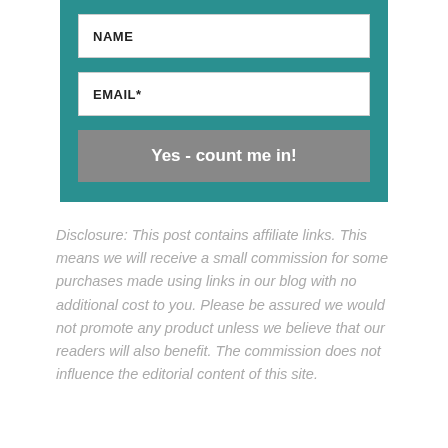[Figure (screenshot): A signup form with a teal background containing a NAME field, an EMAIL* field, and a grey 'Yes - count me in!' submit button.]
Disclosure: This post contains affiliate links. This means we will receive a small commission for some purchases made using links in our blog with no additional cost to you. Please be assured we would not promote any product unless we believe that our readers will also benefit. The commission does not influence the editorial content of this site.